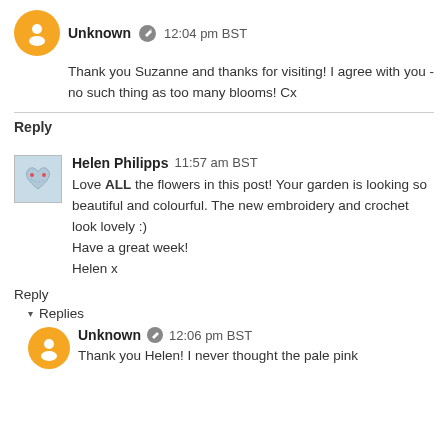Unknown 12:04 pm BST
Thank you Suzanne and thanks for visiting! I agree with you - no such thing as too many blooms! Cx
Reply
Helen Philipps 11:57 am BST
Love ALL the flowers in this post! Your garden is looking so beautiful and colourful. The new embroidery and crochet look lovely :)
Have a great week!
Helen x
Reply
Replies
Unknown 12:06 pm BST
Thank you Helen! I never thought the pale pink...